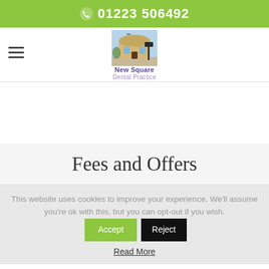01223 506492
[Figure (logo): New Square Dental Practice logo with illustrated building]
Fees and Offers
This website uses cookies to improve your experience. We'll assume you're ok with this, but you can opt-out if you wish. Accept Reject
Read More